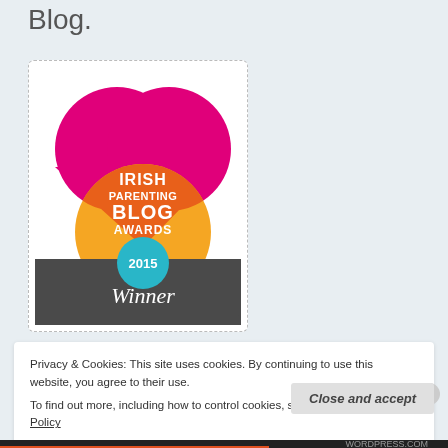Blog.
[Figure (illustration): Irish Parenting Blog Awards 2015 Winner badge — pink heart and orange circle overlapping, with teal circle showing '2015', dark grey banner at bottom with 'Winner' in white script]
Privacy & Cookies: This site uses cookies. By continuing to use this website, you agree to their use.
To find out more, including how to control cookies, see here: Cookie Policy
Close and accept